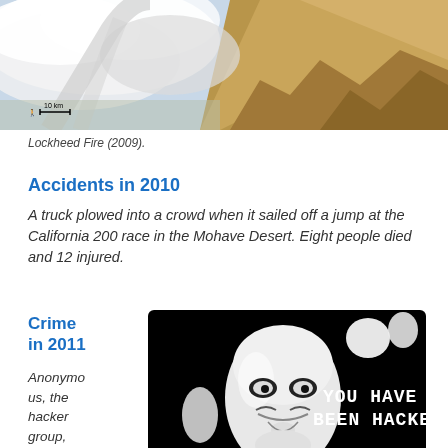[Figure (photo): Satellite aerial view of the Lockheed Fire (2009), showing smoke plumes over mountainous terrain in California.]
Lockheed Fire (2009).
Accidents in 2010
A truck plowed into a crowd when it sailed off a jump at the California 200 race in the Mohave Desert. Eight people died and 12 injured.
Crime in 2011
Anonymous, the hacker group, struck a Bay Area
[Figure (photo): Black and white image of Anonymous Guy Fawkes mask with text reading 'YOU HAVE BEEN HACKED'.]
Anonymous.